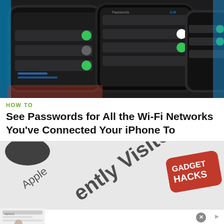[Figure (photo): Close-up photo of iPhones displaying Wi-Fi settings and password screens with dark UI, green toggle switches visible]
HOW TO
See Passwords for All the Wi-Fi Networks You've Connected Your iPhone To
[Figure (photo): Close-up of a document or surface showing text 'ently Visited' and 'Apple', with a red Gadget Hacks logo badge]
[Figure (other): Advertisement banner: Women's Fashion | Shop Online | VENUS - Shop the best in women's fashion, clothing, swimwear - venus.com]